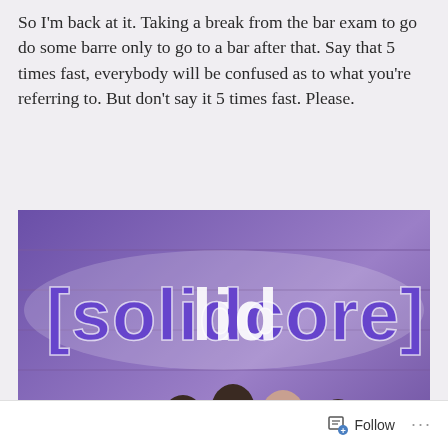So I'm back at it. Taking a break from the bar exam to go do some barre only to go to a bar after that. Say that 5 times fast, everybody will be confused as to what you're referring to. But don't say it 5 times fast. Please.
[Figure (photo): Group photo of eight women posing in front of a large illuminated [solidcore] sign on a wooden plank wall with purple lighting. Several pieces of exercise equipment are visible in the background.]
Follow ···